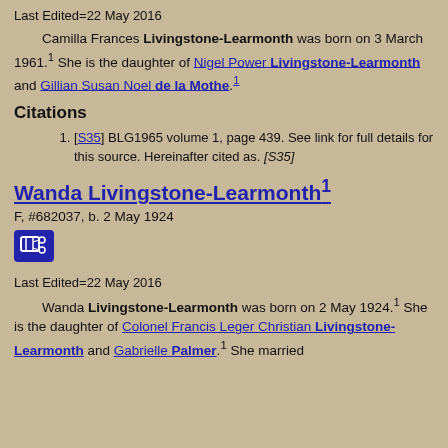Last Edited=22 May 2016
Camilla Frances Livingstone-Learmonth was born on 3 March 1961.1 She is the daughter of Nigel Power Livingstone-Learmonth and Gillian Susan Noel de la Mothe.1
Citations
[S35] BLG1965 volume 1, page 439. See link for full details for this source. Hereinafter cited as. [S35]
Wanda Livingstone-Learmonth1
F, #682037, b. 2 May 1924
[Figure (other): Blue icon button with network/chart symbol]
Last Edited=22 May 2016
Wanda Livingstone-Learmonth was born on 2 May 1924.1 She is the daughter of Colonel Francis Leger Christian Livingstone-Learmonth and Gabrielle Palmer.1 She married